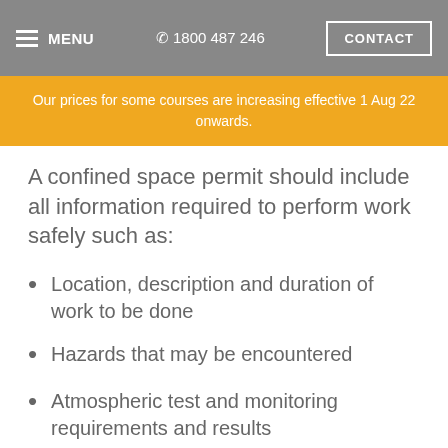MENU  1800 487 246  CONTACT
Our prices for some courses are increasing effective 1 Aug 22 onwards.
A confined space permit should include all information required to perform work safely such as:
Location, description and duration of work to be done
Hazards that may be encountered
Atmospheric test and monitoring requirements and results